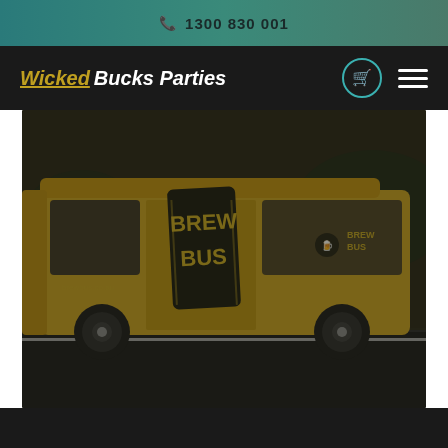1300 830 001
Wicked Bucks Parties
[Figure (photo): A yellow van with 'Brew Bus' branding parked on a street, photographed from the side. The van has large black text and logo reading 'BREW BUS' on its side panel. The image has a dark overlay. Website text 'brewbus.co.au' is partially visible on the van door.]